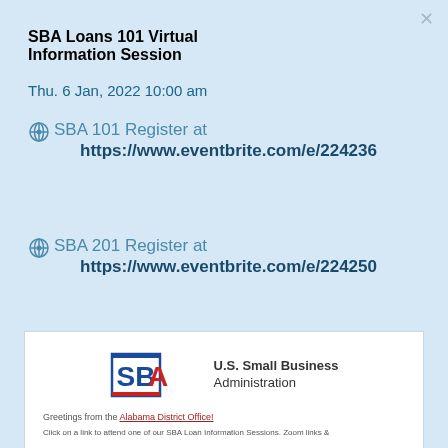SBA Loans 101 Virtual Information Session
Thu. 6 Jan, 2022 10:00 am
SBA 101 Register at https://www.eventbrite.com/e/224236
SBA 201 Register at https://www.eventbrite.com/e/224250
[Figure (screenshot): Preview of SBA email with U.S. Small Business Administration logo and greeting text from the Alabama District Office]